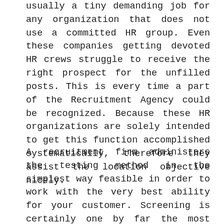usually a tiny demanding job for any organization that does not use a committed HR group. Even these companies getting devoted HR crews struggle to receive the right prospect for the unfilled posts. This is every time a part of the Recruitment Agency could be recognized. Because these HR organizations are solely intended to get this function accomplished systematically, therefore they assist the location objective nicely.
A recruitment firm administers the testing method in the simplest way feasible in order to work with the very best ability for your customer. Screening is certainly one by far the most tiring activities associated with recruitment method which might require two to 5 various rounds depending on the position empty and the business. It is this process in which the best of all qualified individuals are shortlisted and after that employed. Well-timed